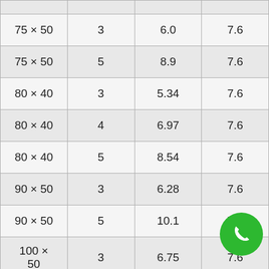| Size | Thickness | Weight (kg/m) | Value |
| --- | --- | --- | --- |
| 75 x 50 | 3 | 6.0 | 7.6 |
| 75 x 50 | 5 | 8.9 | 7.6 |
| 80 x 40 | 3 | 5.34 | 7.6 |
| 80 x 40 | 4 | 6.97 | 7.6 |
| 80 x 40 | 5 | 8.54 | 7.6 |
| 90 x 50 | 3 | 6.28 | 7.6 |
| 90 x 50 | 5 | 10.1 | 7.6 |
| 100 x 50 | 3 | 6.75 | 7.6 |
| 100 x 50 | 4 | 8.86 | 7.6 |
| 100 x 50 | 5 | 10.9 | 7.6 |
[Figure (other): Green circular phone/call button overlay in bottom-right corner]